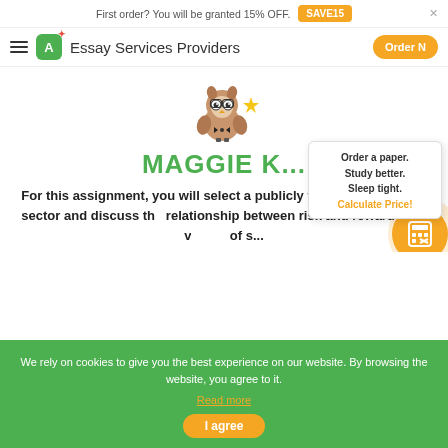First order? You will be granted 15% OFF. SAVE15
A+ Essay Services Providers  Order N...
[Figure (illustration): Cartoon owl mascot wearing glasses and holding a gold star]
MAGGIE K...
Order a paper. Study better. Sleep tight. Calculate Price!
For this assignment, you will select a publicly traded entity in any sector and discuss the relationship between risk and reward for a v... of s...
We rely on cookies to give you the best experience on our website. By browsing the website, you agree to it. Read more
I agree